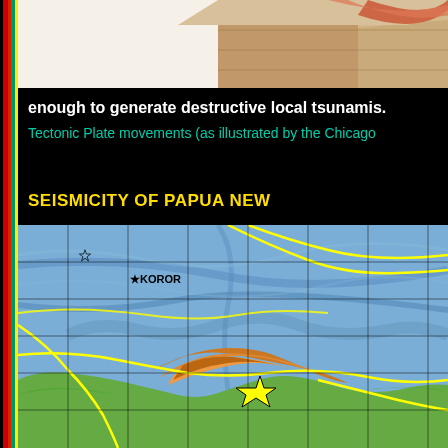[Figure (photo): 3D geological/tectonic block diagram showing rock layers and plate structure, tan/brown colored]
enough to generate destructive local tsunamis.
Tectonic Plate movements (as illustrated by the Chicago
SEISMICITY OF PAPUA NEW
[Figure (map): Seismicity map of Papua New Guinea region showing tectonic plate boundaries (yellow lines), ocean floor topography (blue shading), and land topography (green/orange/red shading). Shows KOROR label with star symbol in upper portion, and a large yellow star marker indicating earthquake epicenter in the PNG mainland area. Grid lines overlay the map.]